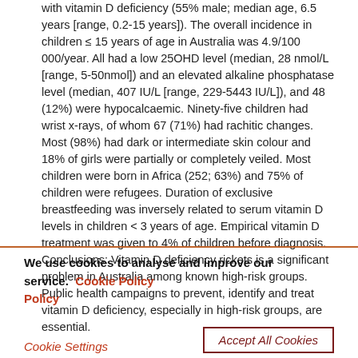with vitamin D deficiency (55% male; median age, 6.5 years [range, 0.2-15 years]). The overall incidence in children ≤ 15 years of age in Australia was 4.9/100 000/year. All had a low 25OHD level (median, 28 nmol/L [range, 5-50nmol]) and an elevated alkaline phosphatase level (median, 407 IU/L [range, 229-5443 IU/L]), and 48 (12%) were hypocalcaemic. Ninety-five children had wrist x-rays, of whom 67 (71%) had rachitic changes. Most (98%) had dark or intermediate skin colour and 18% of girls were partially or completely veiled. Most children were born in Africa (252; 63%) and 75% of children were refugees. Duration of exclusive breastfeeding was inversely related to serum vitamin D levels in children < 3 years of age. Empirical vitamin D treatment was given to 4% of children before diagnosis. Conclusions: Vitamin D deficiency rickets is a significant problem in Australia among known high-risk groups. Public health campaigns to prevent, identify and treat vitamin D deficiency, especially in high-risk groups, are essential.
We use cookies to analyse and improve our service. Cookie Policy
Cookie Settings    Accept All Cookies